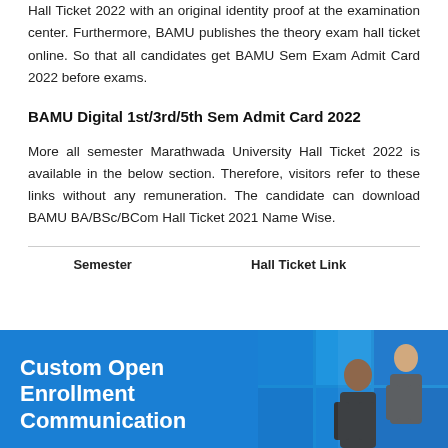Hall Ticket 2022 with an original identity proof at the examination center. Furthermore, BAMU publishes the theory exam hall ticket online. So that all candidates get BAMU Sem Exam Admit Card 2022 before exams.
BAMU Digital 1st/3rd/5th Sem Admit Card 2022
More all semester Marathwada University Hall Ticket 2022 is available in the below section. Therefore, visitors refer to these links without any remuneration. The candidate can download BAMU BA/BSc/BCom Hall Ticket 2021 Name Wise.
| Semester | Hall Ticket Link |
| --- | --- |
[Figure (infographic): Blue advertisement banner with text 'Custom Open Enrollment Communication' on the left side and an image of people on the right side with blue square design elements.]